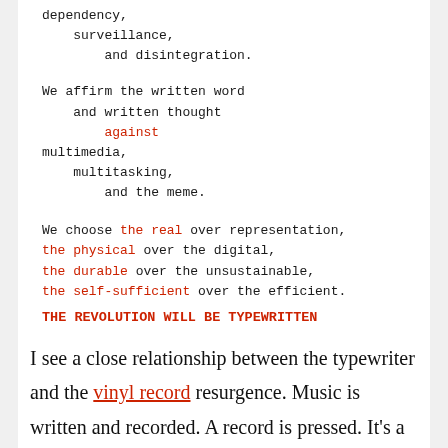dependency,
    surveillance,
        and disintegration.
We affirm the written word
    and written thought
        against
multimedia,
    multitasking,
        and the meme.
We choose the real over representation,
the physical over the digital,
the durable over the unsustainable,
the self-sufficient over the efficient.
THE REVOLUTION WILL BE TYPEWRITTEN
I see a close relationship between the typewriter and the vinyl record resurgence. Music is written and recorded. A record is pressed. It's a physical representation of the music that springs to life when a diamond needle rests on this sacred platter at thirty-three and a third